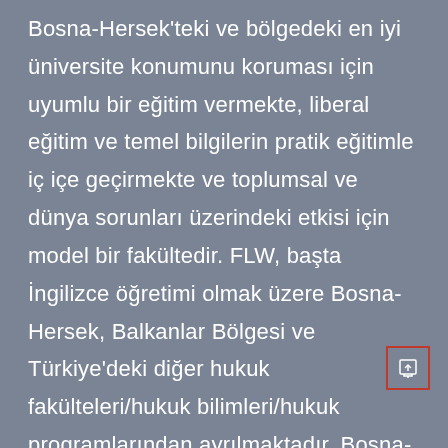Bosna-Hersek'teki ve bölgedeki en iyi üniversite konumunu koruması için uyumlu bir eğitim vermekte, liberal eğitim ve temel bilgilerin pratik eğitimle iç içe geçirmekte ve toplumsal ve dünya sorunları üzerindeki etkisi için model bir fakültedir. FLW, başta İngilizce öğretimi olmak üzere Bosna-Hersek, Balkanlar Bölgesi ve Türkiye'deki diğer hukuk fakülteleri/hukuk bilimleri/hukuk programlarından ayrılmaktadır. Bosna-Hersek'teki 23 hukuk fakültesi/hukuk bilimleri/hukuk programı arasında FLW, İngilizce dilinde hukuk eğitimi veren iki fakülteden biridir. Türkiye'deki 83 hukuk fakültesi arasında sadece İngilizce dilinde hukuk eğitimi veren bir fakülte bulunmamaktadır.